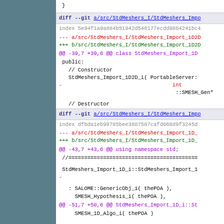}
diff --git a/src/StdMeshers_I/StdMeshers_Import_1D2D_i... index 5e94f1a9a884b51942d546177ecdd9864241bc4... --- a/src/StdMeshers_I/StdMeshers_Import_1D2D... +++ b/src/StdMeshers_I/StdMeshers_Import_1D2D... @@ -39,7 +39,6 @@ class StdMeshers_Import_1D... public:     // Constructor     StdMeshers_Import_1D2D_i( PortableServer: -                                     int                                       ::SMESH_Gen*     // Destructor
diff --git a/src/StdMeshers_I/StdMeshers_Import_1D... index dfbda1eb99785bee3687587cafd068d9f3245d... --- a/src/StdMeshers_I/StdMeshers_Import_1D_... +++ b/src/StdMeshers_I/StdMeshers_Import_1D_... @@ -43,7 +43,6 @@ using namespace std; //=================================== StdMeshers_Import_1D_i::StdMeshers_Import_1... - : SALOME::GenericObj_i( thePOA ),     SMESH_Hypothesis_i( thePOA ), @@ -51,7 +50,6 @@ StdMeshers_Import_1D_i::St     SMESH_1D_Algo_i( thePOA ) {